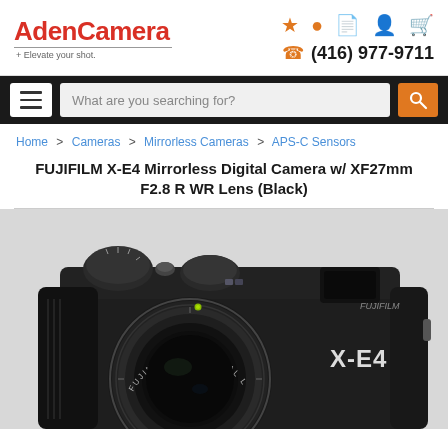[Figure (logo): AdenCamera logo with tagline 'Elevate your shot.' in red text]
[Figure (infographic): Header icons: star, location pin, document, person, shopping cart in orange; phone icon with number (416) 977-9711]
[Figure (screenshot): Navigation bar with hamburger menu button and search box 'What are you searching for?' with orange search button]
Home > Cameras > Mirrorless Cameras > APS-C Sensors
FUJIFILM X-E4 Mirrorless Digital Camera w/ XF27mm F2.8 R WR Lens (Black)
[Figure (photo): Fujifilm X-E4 mirrorless digital camera in black, shown with XF27mm lens, FUJINON ASPHERICAL lens text visible, X-E4 branding on camera body]